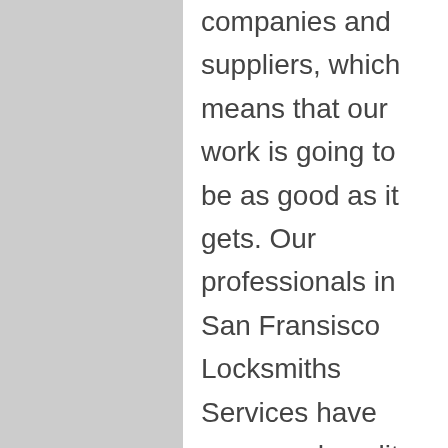companies and suppliers, which means that our work is going to be as good as it gets. Our professionals in San Fransisco Locksmiths Services have very good quality tool kit in order to create their work as professional as they can, without delays caused by their machines. We think a really good technician it isn't just the one that discovered and gained knowledge of the